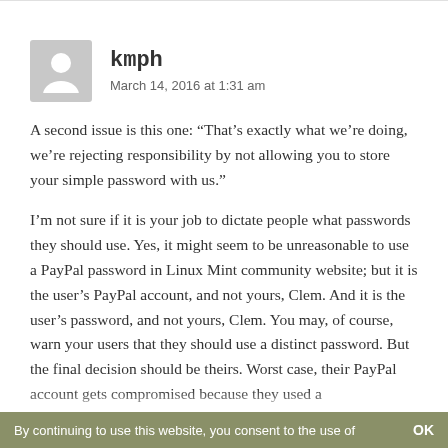kmph — March 14, 2016 at 1:31 am
A second issue is this one: “That's exactly what we're doing, we're rejecting responsibility by not allowing you to store your simple password with us.”
I’m not sure if it is your job to dictate people what passwords they should use. Yes, it might seem to be unreasonable to use a PayPal password in Linux Mint community website; but it is the user’s PayPal account, and not yours, Clem. And it is the user’s password, and not yours, Clem. You may, of course, warn your users that they should use a distinct password. But the final decision should be theirs. Worst case, their PayPal account gets compromised because they used a
By continuing to use this website, you consent to the use of    OK